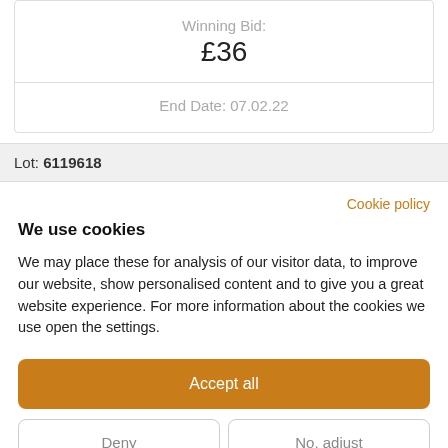Winning Bid:
£36
End Date: 07.02.22
Lot: 6119618
Cookie policy
We use cookies
We may place these for analysis of our visitor data, to improve our website, show personalised content and to give you a great website experience. For more information about the cookies we use open the settings.
Accept all
Deny
No, adjust